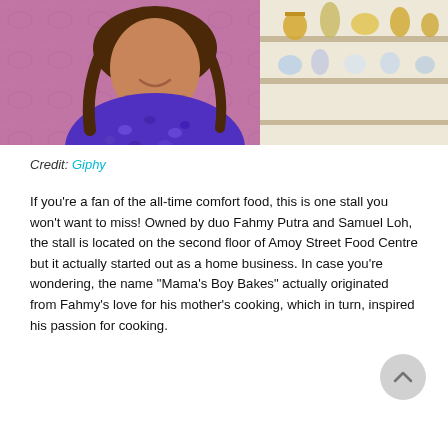[Figure (photo): A young girl in a purple patterned shirt smiling, with a decorative shelf visible on the right side. Pink/purple decorative background.]
Credit: Giphy
If you're a fan of the all-time comfort food, this is one stall you won't want to miss! Owned by duo Fahmy Putra and Samuel Loh, the stall is located on the second floor of Amoy Street Food Centre but it actually started out as a home business. In case you're wondering, the name "Mama's Boy Bakes" actually originated from Fahmy's love for his mother's cooking, which in turn, inspired his passion for cooking.